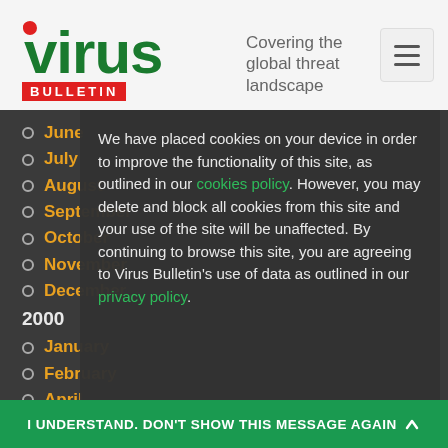Virus Bulletin - Covering the global threat landscape
June
July
August
September
October
November
December
2000
January
February
April
May
June
July
We have placed cookies on your device in order to improve the functionality of this site, as outlined in our cookies policy. However, you may delete and block all cookies from this site and your use of the site will be unaffected. By continuing to browse this site, you are agreeing to Virus Bulletin's use of data as outlined in our privacy policy.
I UNDERSTAND. DON'T SHOW THIS MESSAGE AGAIN